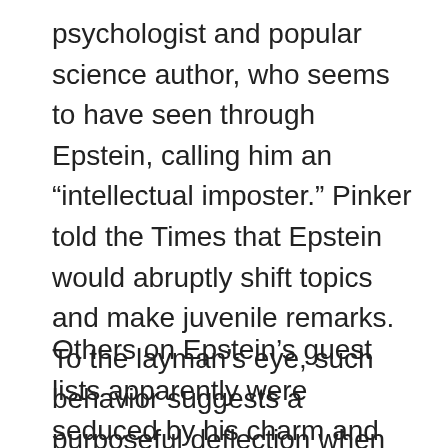psychologist and popular science author, who seems to have seen through Epstein, calling him an “intellectual imposter.” Pinker told the Times that Epstein would abruptly shift topics and make juvenile remarks. To the layman’s eye, such behavior suggests a purposeful deflection when the topic at hand is reaching a point beyond the speaker’s comfort range.
Others on Epstein’s guest lists apparently were seduced by his charm and intellect, as well as his wealth, which